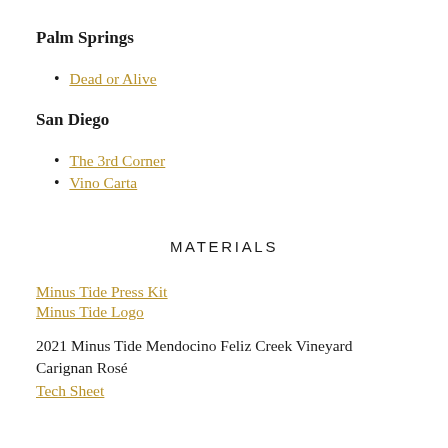Palm Springs
Dead or Alive
San Diego
The 3rd Corner
Vino Carta
MATERIALS
Minus Tide Press Kit
Minus Tide Logo
2021 Minus Tide Mendocino Feliz Creek Vineyard Carignan Rosé
Tech Sheet